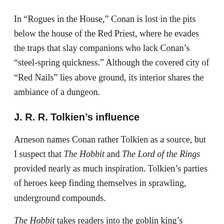In “Rogues in the House,” Conan is lost in the pits below the house of the Red Priest, where he evades the traps that slay companions who lack Conan’s “steel-spring quickness.” Although the covered city of “Red Nails” lies above ground, its interior shares the ambiance of a dungeon.
J. R. R. Tolkien’s influence
Arneson names Conan rather Tolkien as a source, but I suspect that The Hobbit and The Lord of the Rings provided nearly as much inspiration. Tolkien’s parties of heroes keep finding themselves in sprawling, underground compounds.
The Hobbit takes readers into the goblin king’s warrens under the Misty Mountains, where Bilbo gets lost in the tunnels and encounters Gollum. Next, the dwarves are imprisoned by the wood elves in an underground fortress. “The king’s cave was his palace, and the strong place of his treasure, and the